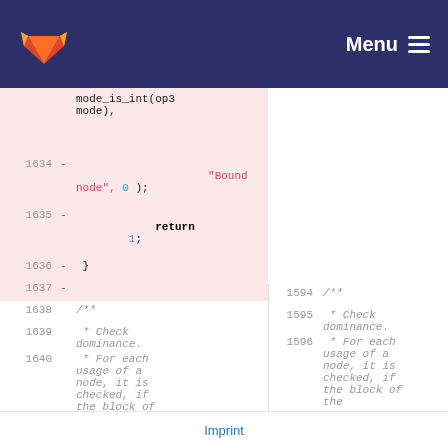GitLab | Menu
[Figure (screenshot): Code diff view showing removed lines (pink background) with line numbers 1634-1637 on left panel containing deleted code: mode_is_int(op3 mode), - "Bound node", 0 ); - return 1; - } -, and both panels showing lines 1638-1640 / 1594-1596 with comments: /** * Check dominance. * For each usage of a node, it is checked, if the block of the]
Imprint